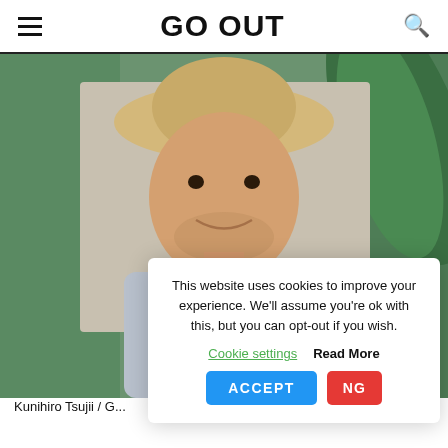GO OUT
[Figure (photo): Portrait photo of Kunihiro Tsujii wearing a wide-brim hat and light grey long-sleeve shirt with suspenders, smiling, standing in front of green tropical plants]
Kunihiro Tsujii / G...
This website uses cookies to improve your experience. We'll assume you're ok with this, but you can opt-out if you wish.
Cookie settings   Read More
ACCEPT   NG